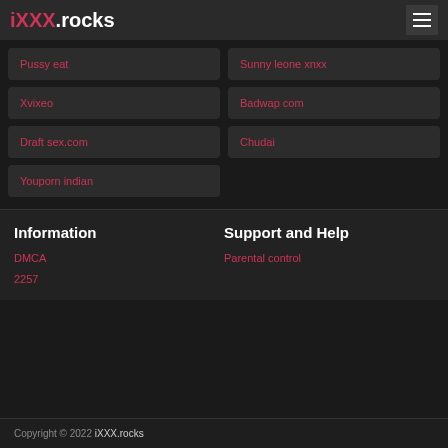iXXX.rocks
Pussy eat
Sunny leone xnxx
Xvixeo
Badwap com
Draft sex.com
Chudai
Youporn indian
Information
Support and Help
DMCA
2257
Parental control
Copyright © 2022 iXXX.rocks